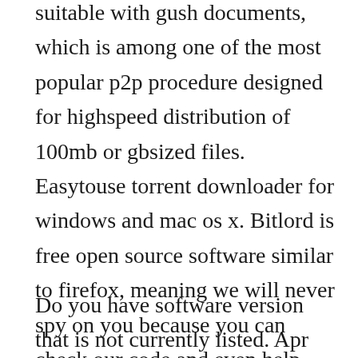suitable with gush documents, which is among one of the most popular p2p procedure designed for highspeed distribution of 100mb or gbsized files. Easytouse torrent downloader for windows and mac os x. Bitlord is free open source software similar to firefox, meaning we will never spy on you because you can check our code and even help make bitlord better. Bitlord the easiest torrent client for streaming and.
Do you have software version that is not currently listed. Apr 19, 2018 this free